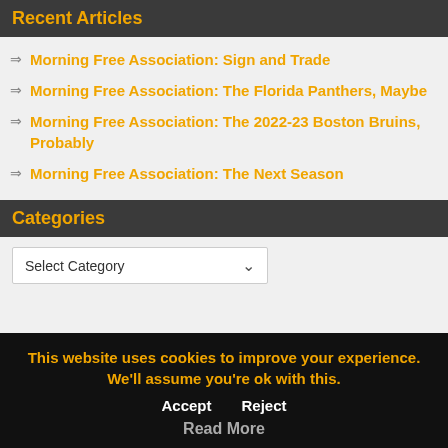Recent Articles
Morning Free Association: Sign and Trade
Morning Free Association: The Florida Panthers, Maybe
Morning Free Association: The 2022-23 Boston Bruins, Probably
Morning Free Association: The Next Season
Categories
Select Category
This website uses cookies to improve your experience. We'll assume you're ok with this. Accept Reject Read More